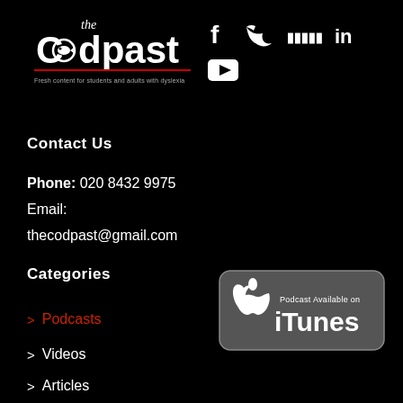[Figure (logo): The Codpast logo — white text on black with a fish icon and red underline, subtitle: Fresh content for students and adults with dyslexia]
[Figure (infographic): Social media icons: Facebook, Twitter, SoundCloud, LinkedIn, YouTube]
Contact Us
Phone: 020 8432 9975
Email:
thecodpast@gmail.com
Categories
> Podcasts
> Videos
> Articles
[Figure (logo): Podcast Available on iTunes badge — grey rounded rectangle with Apple logo and white text]